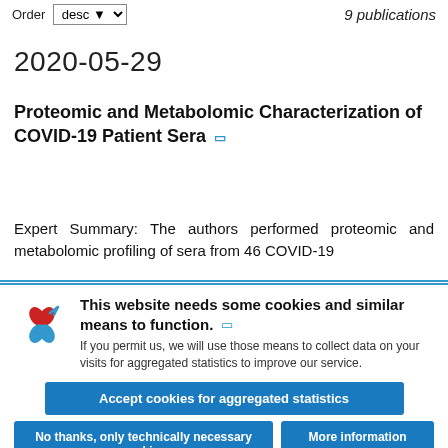Order desc  9 publications
2020-05-29
Proteomic and Metabolomic Characterization of COVID-19 Patient Sera
Expert Summary: The authors performed proteomic and metabolomic profiling of sera from 46 COVID-19
This website needs some cookies and similar means to function. If you permit us, we will use those means to collect data on your visits for aggregated statistics to improve our service.
Accept cookies for aggregated statistics
No thanks, only technically necessary cookies
More information